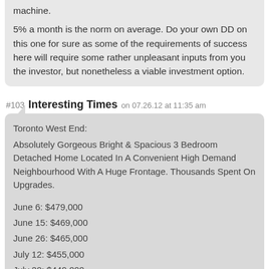machine.
5% a month is the norm on average. Do your own DD on this one for sure as some of the requirements of success here will require some rather unpleasant inputs from you the investor, but nonetheless a viable investment option.
#103 Interesting Times on 07.26.12 at 11:35 am
Toronto West End:
Absolutely Gorgeous Bright & Spacious 3 Bedroom Detached Home Located In A Convenient High Demand Neighbourhood With A Huge Frontage. Thousands Spent On Upgrades.

June 6: $479,000
June 15: $469,000
June 26: $465,000
July 12: $455,000
July 20: $449,000
July 16: $435,000
http://www.realtor.ca/PropertyDetails.aspx?